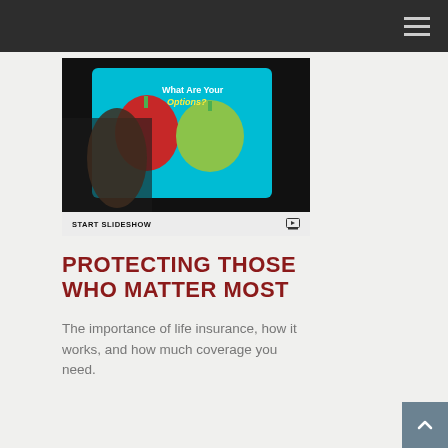[Figure (screenshot): Tablet screen showing a slideshow with the text 'What Are Your Options?' and an image of a hand touching a red apple on a bright cyan/teal background. A white banner at the bottom reads 'START SLIDESHOW' with a slideshow icon.]
PROTECTING THOSE WHO MATTER MOST
The importance of life insurance, how it works, and how much coverage you need.